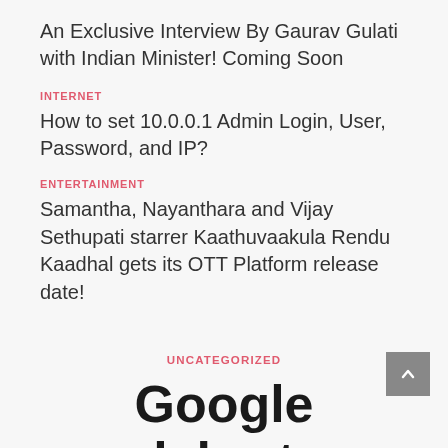An Exclusive Interview By Gaurav Gulati with Indian Minister! Coming Soon
INTERNET
How to set 10.0.0.1 Admin Login, User, Password, and IP?
ENTERTAINMENT
Samantha, Nayanthara and Vijay Sethupati starrer Kaathuvaakula Rendu Kaadhal gets its OTT Platform release date!
UNCATEGORIZED
Google celebrates Vietnam's National Day with doodle